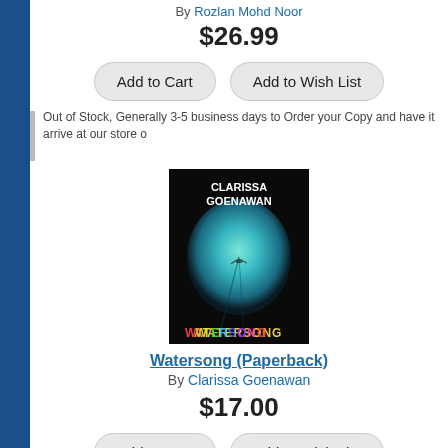By Rozlan Mohd Noor
$26.99
Add to Cart
Add to Wish List
Out of Stock, Generally 3-5 business days to Order your Copy and have it arrive at our store o
[Figure (photo): Book cover for Watersong by Clarissa Goenawan. Black background with a teal/blue glowing circular shape resembling underwater, with a small figure visible. Title 'WATERSONG' in colorful letters at bottom, author name 'CLARISSA GOENAWAN' in white at top.]
Watersong (Paperback)
By Clarissa Goenawan
$17.00
Add to Cart
Add to Wish List
Out of Stock, Generally 3-5 business days to Order your Copy and have it arrive at our store o